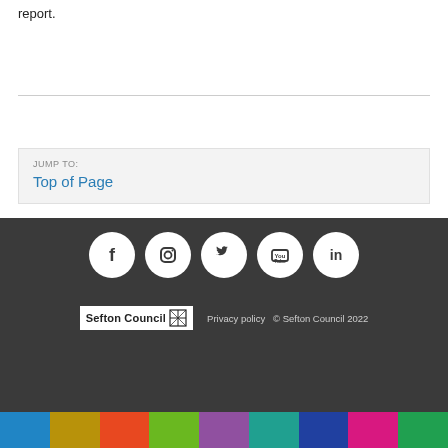report.
JUMP TO:
Top of Page
[Figure (infographic): Dark footer with five social media icons (Facebook, Instagram, Twitter, YouTube, LinkedIn) displayed as white circles on dark background, Sefton Council logo, Privacy policy link, copyright notice, and a multicolor bar at the bottom.]